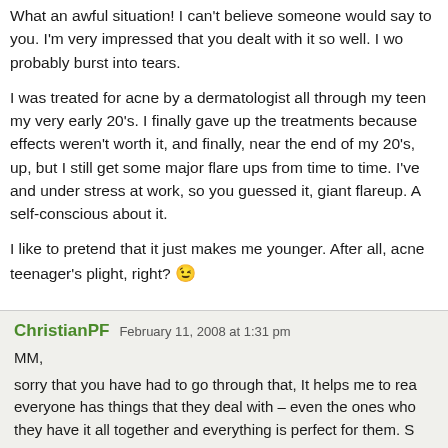What an awful situation! I can't believe someone would say to you. I'm very impressed that you dealt with it so well. I wo probably burst into tears.

I was treated for acne by a dermatologist all through my teen my very early 20's. I finally gave up the treatments because effects weren't worth it, and finally, near the end of my 20's, up, but I still get some major flare ups from time to time. I've and under stress at work, so you guessed it, giant flareup. A self-conscious about it.

I like to pretend that it just makes me younger. After all, acne teenager's plight, right? 😉
ChristianPF  February 11, 2008 at 1:31 pm

MM,
sorry that you have had to go through that, It helps me to rea everyone has things that they deal with – even the ones who they have it all together and everything is perfect for them. S